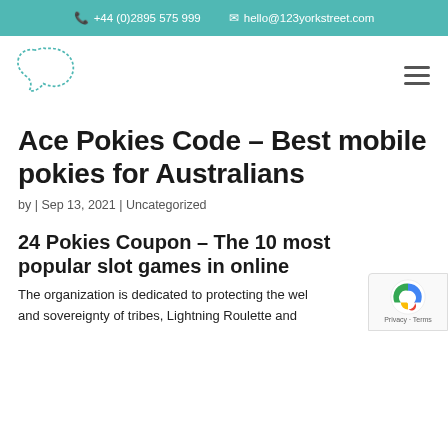+44 (0)2895 575 999  hello@123yorkstreet.com
[Figure (logo): 123 York Street logo — a dashed-outline blob/speech-bubble shape in teal]
Ace Pokies Code – Best mobile pokies for Australians
by | Sep 13, 2021 | Uncategorized
24 Pokies Coupon – The 10 most popular slot games in online
The organization is dedicated to protecting the welfare and sovereignty of tribes, Lightning Roulette and